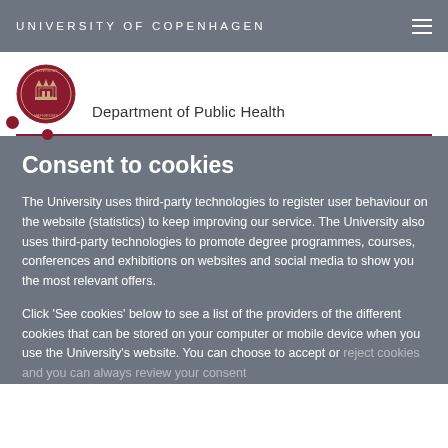UNIVERSITY OF COPENHAGEN
[Figure (logo): University of Copenhagen circular seal/crest logo in dark red, with a small red dot below-left]
Department of Public Health
Consent to cookies
The University uses third-party technologies to register user behaviour on the website (statistics) to keep improving our service. The University also uses third-party technologies to promote degree programmes, courses, conferences and exhibitions on websites and social media to show you the most relevant offers.
Click 'See cookies' below to see a list of the providers of the different cookies that can be stored on your computer or mobile device when you use the University's website. You can choose to accept or reject cookies and you can always review your consent